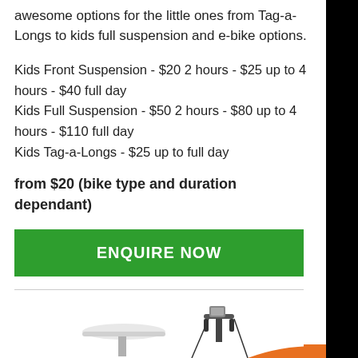awesome options for the little ones from Tag-a-Longs to kids full suspension and e-bike options.
Kids Front Suspension - $20 2 hours - $25 up to 4 hours - $40 full day
Kids Full Suspension - $50 2 hours - $80 up to 4 hours - $110 full day
Kids Tag-a-Longs - $25 up to full day
from $20 (bike type and duration dependant)
[Figure (other): Green 'ENQUIRE NOW' button]
[Figure (photo): Partial image of a bicycle (handlebars and seat visible) at the bottom of the page]